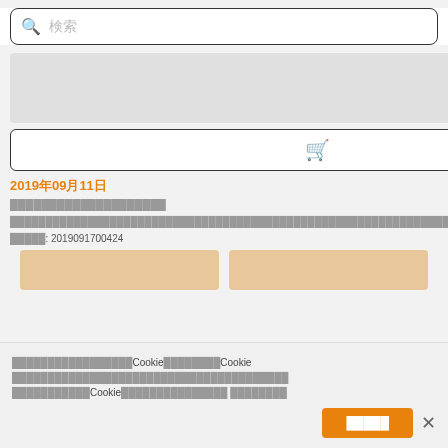[Figure (screenshot): Search bar with magnifying glass icon and placeholder text]
[Figure (screenshot): Product listing grid with two columns, each showing image placeholder, cart and favorite buttons, date, title, description, and product ID]
2019年09月11日
2019年09月11日
掲載番号: 2019091700424
掲載番号: 2019091700573
当社はお客様のサービス向上のためCookieを使用しています。Cookieは当社のプライバシーポリシーに従って管理されます。サービスを継続してご利用される場合、お客様はCookieの使用に同意したことになります。 プライバシーポリシー
[Figure (screenshot): Accept cookies button with orange background and close X button]